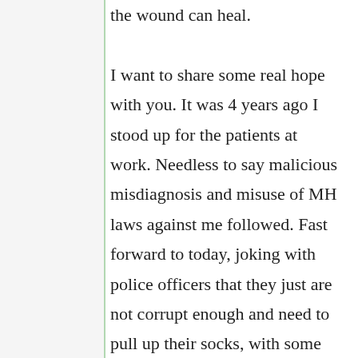the wound can heal.

I want to share some real hope with you. It was 4 years ago I stood up for the patients at work. Needless to say malicious misdiagnosis and misuse of MH laws against me followed. Fast forward to today, joking with police officers that they just are not corrupt enough and need to pull up their socks, with some how to tips on covering up